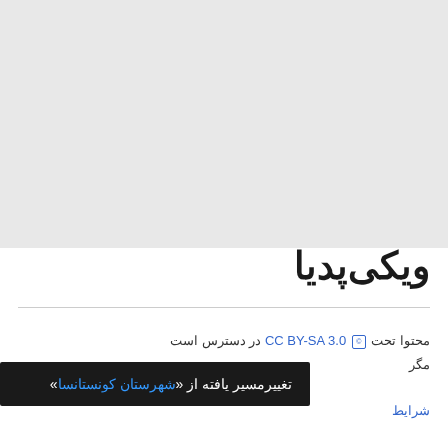[Figure (screenshot): Light gray background area filling the upper portion of the page, representing a Wikipedia page screenshot background.]
ویکی‌پدیا
محتوا تحت CC BY-SA 3.0 در دسترس است
مگر
شرایط
تغییرمسیر یافته از «شهرستان کونستانسا»